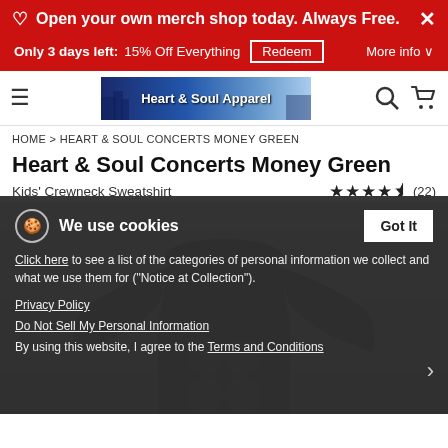Open your own merch shop today. Always Free.
Only 3 days left: 15% Off Everything  Redeem  More info
[Figure (logo): Heart & Soul Apparel logo banner with city skyline background]
HOME > HEART & SOUL CONCERTS MONEY GREEN
Heart & Soul Concerts Money Green
Kids' Crewneck Sweatshirt  ★★★★½ (22)
[Figure (photo): Black kids crewneck sweatshirt with green circular graphics on the front]
We use cookies
Click here to see a list of the categories of personal information we collect and what we use them for ("Notice at Collection").
Privacy Policy
Do Not Sell My Personal Information
By using this website, I agree to the Terms and Conditions